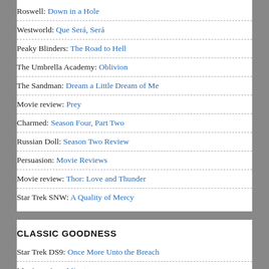Roswell: Down in a Hole
Westworld: Que Será, Será
Peaky Blinders: The Road to Hell
The Umbrella Academy: Oblivion
The Sandman: Dream a Little Dream of Me
Movie review: Prey
Charmed: Season Four, Part Two
Russian Doll: Season Two Review
Persuasion: Movie Reviews
Movie review: Thor: Love and Thunder
Star Trek SNW: A Quality of Mercy
CLASSIC GOODNESS
Star Trek DS9: Once More Unto the Breach
Movie review: Minotaur
Movie review: Bad Times at the El Royale
Shadowhunters: Parabatai Lost
Star Trek TAS: The Slaver Weapon
Doctor Who: The Chase